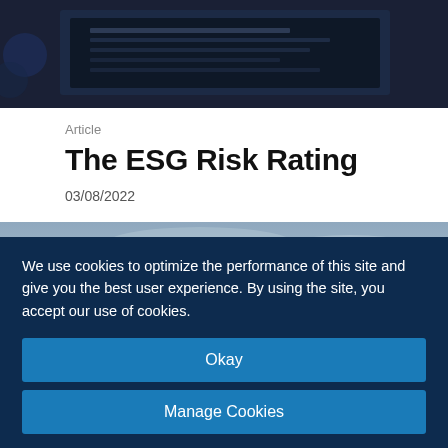[Figure (photo): Dark background image showing a document or screen, partially visible at top of page]
Article
The ESG Risk Rating
03/08/2022
[Figure (photo): Photograph of an iceberg against a cloudy blue-grey sky]
We use cookies to optimize the performance of this site and give you the best user experience. By using the site, you accept our use of cookies.
Okay
Manage Cookies